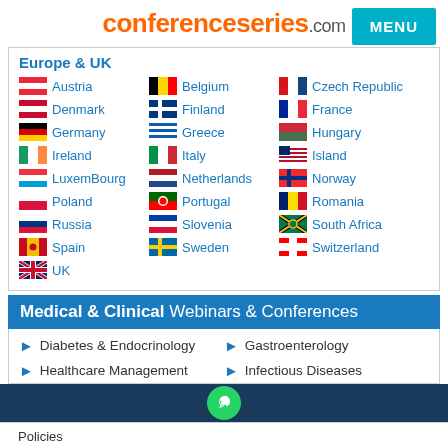conferenceseries.com
Europe & UK
Austria
Belgium
Czech Republic
Denmark
Finland
France
Germany
Greece
Hungary
Ireland
Italy
Island
LuxemBourg
Netherlands
Norway
Poland
Portugal
Romania
Russia
Slovenia
South Africa
Spain
Sweden
Switzerland
UK
Medical & Clinical Webinars & Conferences
Diabetes & Endocrinology
Gastroenterology
Healthcare Management
Infectious Diseases
Policies